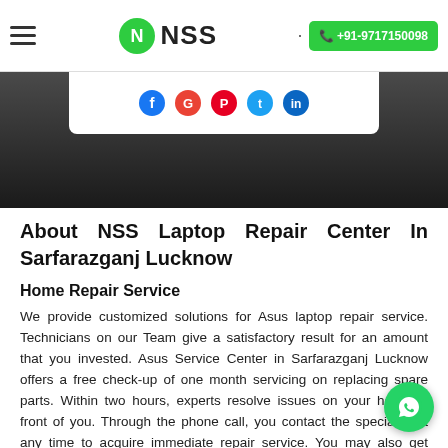NSS | +91-9717150098
[Figure (screenshot): Dark hero image with social media share icons bar (Facebook, Google, Pinterest, Twitter, LinkedIn) on white panel]
About NSS Laptop Repair Center In Sarfarazganj Lucknow
Home Repair Service
We provide customized solutions for Asus laptop repair service. Technicians on our Team give a satisfactory result for an amount that you invested. Asus Service Center in Sarfarazganj Lucknow offers a free check-up of one month servicing on replacing spare parts. Within two hours, experts resolve issues on your home in front of you. Through the phone call, you contact the specialist at any time to acquire immediate repair service. You may also get discount deals on hiring our repair service. From us, you get more benefits from operating a Asus laptop